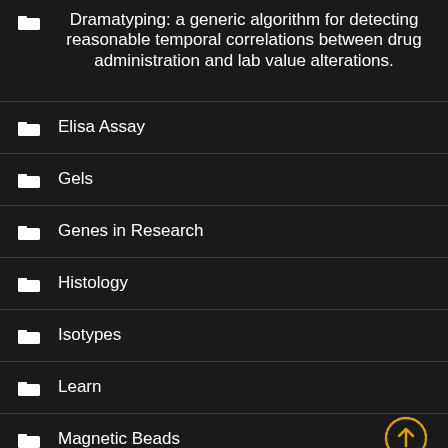Dramatyping: a generic algorithm for detecting reasonable temporal correlations between drug administration and lab value alterations.
Elisa Assay
Gels
Genes in Research
Histology
Isotypes
Learn
Magnetic Beads
Markers